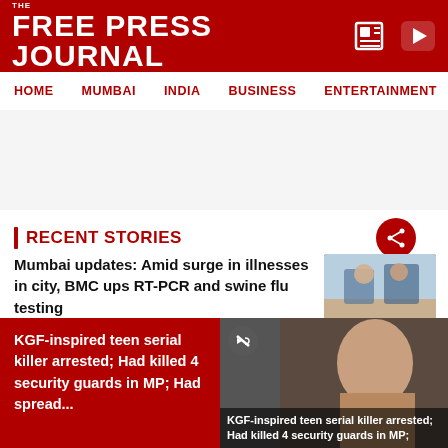THE FREE PRESS JOURNAL
HOME  MUMBAI  INDIA  BUSINESS  ENTERTAINMENT  SPO
RECENT STORIES
Mumbai updates: Amid surge in illnesses in city, BMC ups RT-PCR and swine flu testing
[Figure (photo): Photo of people, medical testing scene]
Thane: Boy drowns in lake meant for
[Figure (photo): Photo of a lake scene]
KGF-inspired teen serial killer arrested; Had killed 4 security guards in MP; Had spread...
[Figure (photo): Video thumbnail of a man, KGF-inspired teen serial killer story]
KGF-inspired teen serial killer arrested; Had killed 4 security guards in MP;